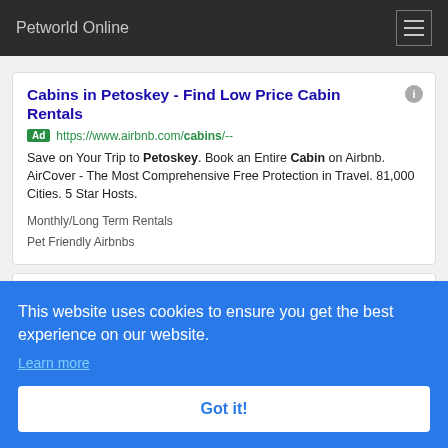Petworld Online
Cabins in Petoskey - Find Low Price Cabin Rentals
Ad https://www.airbnb.com/cabins/--
Save on Your Trip to Petoskey. Book an Entire Cabin on Airbnb. AirCover - The Most Comprehensive Free Protection in Travel. 81,000 Cities. 5 Star Hosts.
Monthly/Long Term Rentals
Pet Friendly Airbnbs
1,000s Of Cabin Vacation Rentals In Petoskey, Mi. Book Today & Save Up To 50%...
This website uses cookies to ensure you get the best experience on our website. Learn more
Got it!